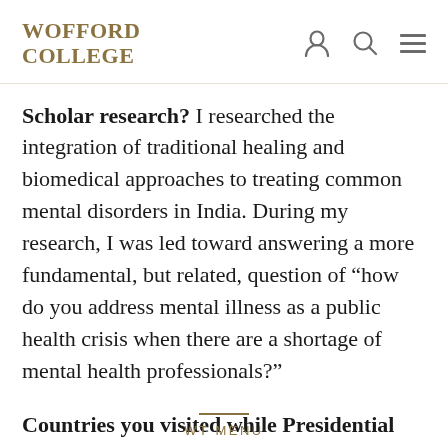WOFFORD COLLEGE
Scholar research? I researched the integration of traditional healing and biomedical approaches to treating common mental disorders in India. During my research, I was led toward answering a more fundamental, but related, question of “how do you address mental illness as a public health crisis when there are a shortage of mental health professionals?”
Countries you visited while Presidential
WT MENU